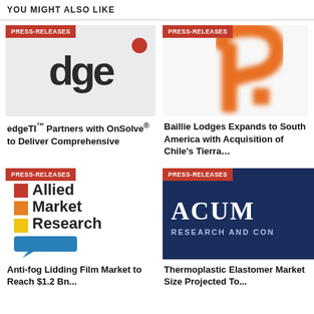YOU MIGHT ALSO LIKE
[Figure (logo): edgeTI logo - large dark letters 'dge' on light grey background with red dot top right, PRESS-RELEASES badge]
edgeTI™ Partners with OnSolve® to Deliver Comprehensive
[Figure (logo): Baillie Lodges logo - orange letter R shape on white background, PRESS-RELEASES badge]
Baillie Lodges Expands to South America with Acquisition of Chile's Tierra…
[Figure (logo): Allied Market Research logo - colorful squares and text on white background, PRESS-RELEASES badge]
Anti-fog Lidding Film Market to Reach $1.2 Bn...
[Figure (logo): Acum Research and Consulting logo - white text on dark navy background, PRESS-RELEASES badge]
Thermoplastic Elastomer Market Size Projected To...